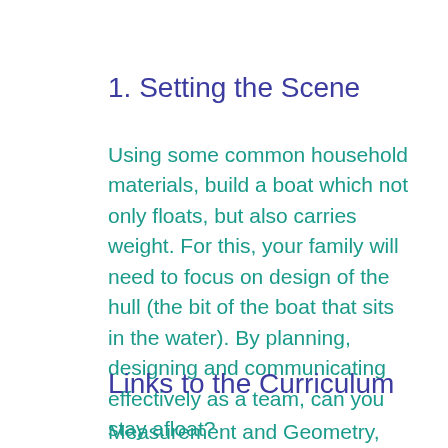1. Setting the Scene
Using some common household materials, build a boat which not only floats, but also carries weight. For this, your family will need to focus on design of the hull (the bit of the boat that sits in the water). By planning, designing and communicating effectively as a team, can you stay afloat?
Links to the Curriculum
Measurement and Geometry, Levels 4-10